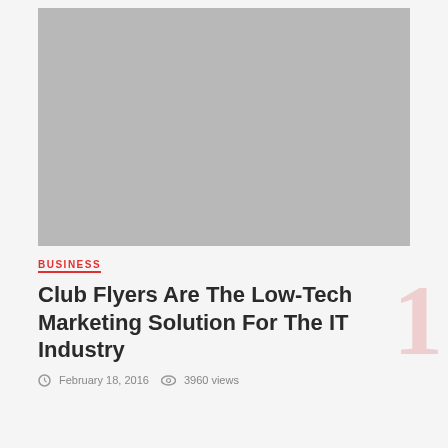[Figure (photo): Gray placeholder image area for blog post thumbnail]
BUSINESS
Club Flyers Are The Low-Tech Marketing Solution For The IT Industry
February 18, 2016  3960 views